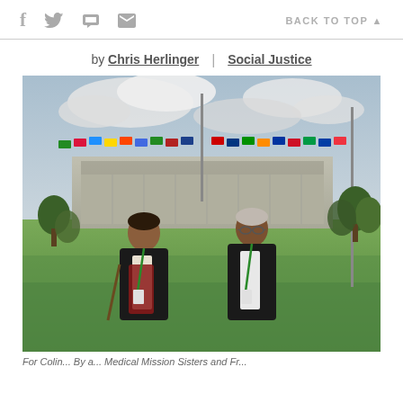Social share icons (Facebook, Twitter, Print, Email) | BACK TO TOP
by Chris Herlinger | Social Justice
[Figure (photo): Two women standing outdoors in front of a large building with many national flags, wearing lanyards/badges with green ribbons. Cloudy sky in background with trees and green grass.]
For Colin... By a... Medical Mission Sisters and Fr...